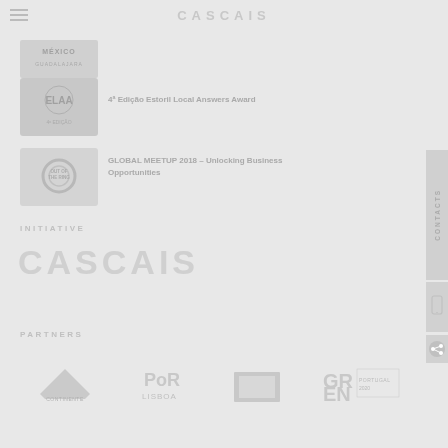CASCAIS
[Figure (logo): México Guadalajara logo thumbnail]
[Figure (logo): ELAA - Estoril Local Answers Award logo thumbnail]
4ª Edição Estoril Local Answers Award
[Figure (logo): Out of the Ring logo thumbnail]
GLOBAL MEETUP 2018 – Unlocking Business Opportunities
INITIATIVE
[Figure (logo): CASCAIS large decorative logo text]
PARTNERS
[Figure (logo): Four partner logos: Continente, Por Lisboa, unknown, GR EN / Portugal 2020]